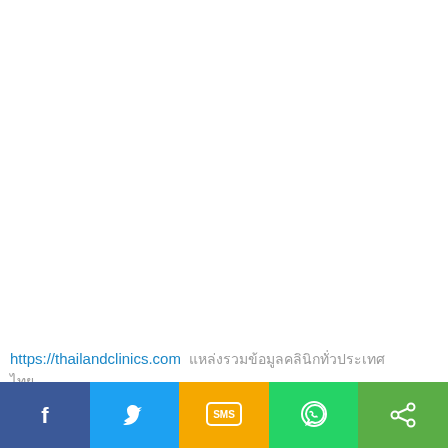https://thailandclinics.com แหล่งรวมข้อมูลคลินิกทั่วประเทศ ไทย
[Figure (screenshot): Social media share bar with Facebook, Twitter, SMS, WhatsApp, and generic share buttons]